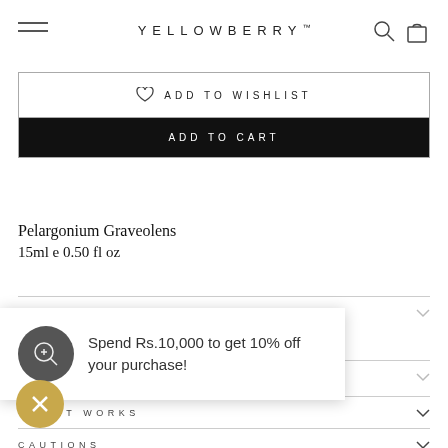YELLOWBERRY™
ADD TO WISHLIST
ADD TO CART
Pelargonium Graveolens
15ml e 0.50 fl oz
DESCRIPTION
HOW TO USE
Spend Rs.10,000 to get 10% off your purchase!
WHY IT WORKS
CAUTIONS